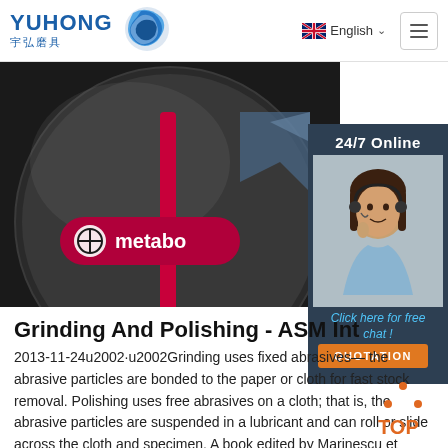YUHONG 宇弘磨具 | English
[Figure (photo): Close-up photo of a Metabo grinding disc with red stripe, partially visible circular disc on dark background]
[Figure (photo): 24/7 Online chat panel with woman wearing headset on dark background, Click here for free chat! and QUOTATION button]
Grinding And Polishing - ASM Int
2013-11-24u2002·u2002Grinding uses fixed abrasives— the abrasive particles are bonded to the paper or cloth for fast stock removal. Polishing uses free abrasives on a cloth; that is, the abrasive particles are suspended in a lubricant and can roll or slide across the cloth and specimen. A book edited by Marinescu et
Get Price